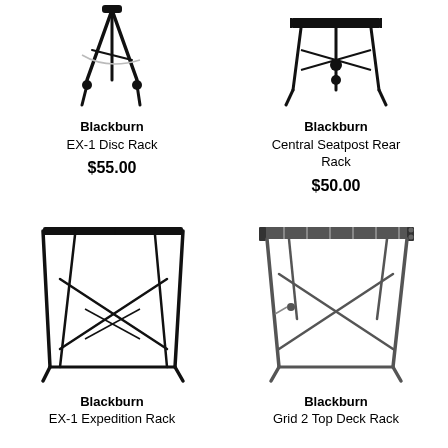[Figure (photo): Blackburn EX-1 Disc Rack bicycle rack product photo, black, top portion visible]
Blackburn
EX-1 Disc Rack
$55.00
[Figure (photo): Blackburn Central Seatpost Rear Rack bicycle rack product photo, black, top portion visible]
Blackburn
Central Seatpost Rear Rack
$50.00
[Figure (photo): Blackburn EX-1 Expedition Rack bicycle rack product photo, full view, black]
Blackburn
EX-1 Expedition Rack
[Figure (photo): Blackburn Grid 2 Top Deck Rack bicycle rack product photo, full view, dark gray]
Blackburn
Grid 2 Top Deck Rack